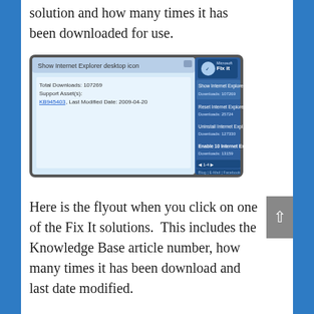solution and how many times it has been downloaded for use.
[Figure (screenshot): Screenshot of Fix It gadget showing a flyout with Total Downloads: 107269, Support Asset(s): KB945403, Last Modified Date: 2009-04-20, and a list of Fix It solutions with download counts including Show Internet Explorer desktop icon (107269), Reset Internet Explorer (25724), Uninstall Internet Explorer (127330), Enable 10 Internet Explorer (13159).]
Here is the flyout when you click on one of the Fix It solutions.  This includes the Knowledge Base article number, how many times it has been download and last date modified.
With this gadget you will get a heads up on the latest fixes out there that you might need. I